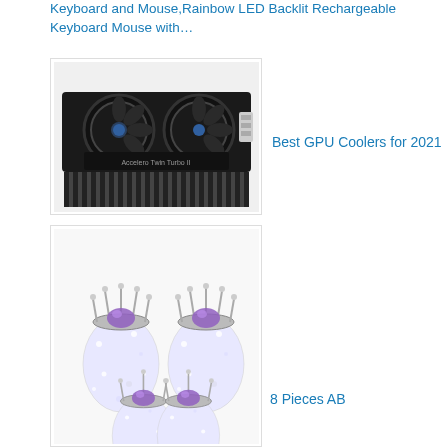Keyboard and Mouse,Rainbow LED Backlit Rechargeable Keyboard Mouse with…
[Figure (photo): Photo of an Arctic Twin Turbo GPU cooler — a black dual-fan graphics card cooler with heatsink fins at the bottom]
Best GPU Coolers for 2021
[Figure (photo): Photo of 4 sparkling AB crystal pineapple-shaped tire valve stem caps with crown tops and purple gems, arranged in a group]
8 Pieces AB